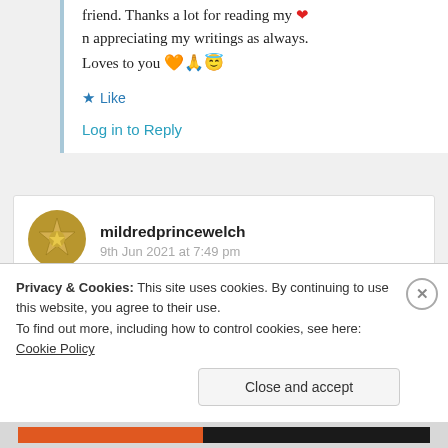friend. Thanks a lot for reading my ❤ n appreciating my writings as always. Loves to you 🧡🙏😇
Like
Log in to Reply
mildredprincewelch
9th Jun 2021 at 7:49 pm
Reblogged this on
Privacy & Cookies: This site uses cookies. By continuing to use this website, you agree to their use.
To find out more, including how to control cookies, see here: Cookie Policy
Close and accept